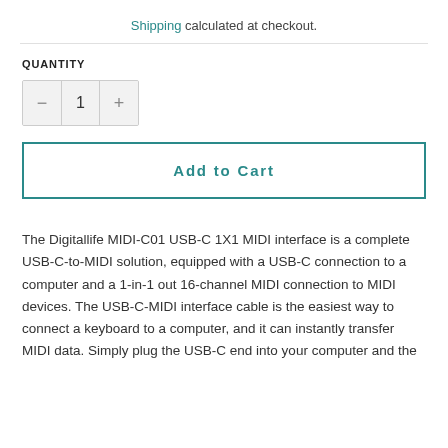Shipping calculated at checkout.
QUANTITY
1
Add to Cart
The Digitallife MIDI-C01 USB-C 1X1 MIDI interface is a complete USB-C-to-MIDI solution, equipped with a USB-C connection to a computer and a 1-in-1 out 16-channel MIDI connection to MIDI devices. The USB-C-MIDI interface cable is the easiest way to connect a keyboard to a computer, and it can instantly transfer MIDI data. Simply plug the USB-C end into your computer and the